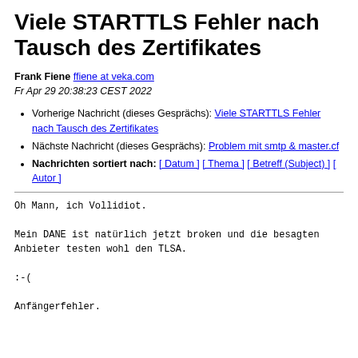Viele STARTTLS Fehler nach Tausch des Zertifikates
Frank Fiene ffiene at veka.com
Fr Apr 29 20:38:23 CEST 2022
Vorherige Nachricht (dieses Gesprächs): Viele STARTTLS Fehler nach Tausch des Zertifikates
Nächste Nachricht (dieses Gesprächs): Problem mit smtp & master.cf
Nachrichten sortiert nach: [ Datum ] [ Thema ] [ Betreff (Subject) ] [ Autor ]
Oh Mann, ich Vollidiot.

Mein DANE ist natürlich jetzt broken und die besagten
Anbieter testen wohl den TLSA.

:-(

Anfängerfehler.